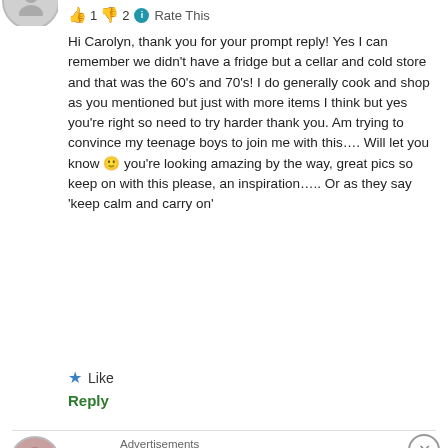👍 1 👎 2 ℹ Rate This
Hi Carolyn, thank you for your prompt reply! Yes I can remember we didn't have a fridge but a cellar and cold store and that was the 60's and 70's! I do generally cook and shop as you mentioned but just with more items I think but yes you're right so need to try harder thank you. Am trying to convince my teenage boys to join me with this…. Will let you know 🙂 you're looking amazing by the way, great pics so keep on with this please, an inspiration….. Or as they say 'keep calm and carry on'
★ Like
Reply
[Figure (photo): Advertisement banner for MAC cosmetics showing lipsticks with SHOP NOW button]